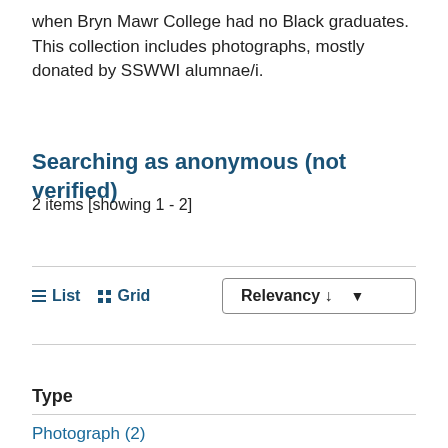when Bryn Mawr College had no Black graduates. This collection includes photographs, mostly donated by SSWWI alumnae/i.
Searching as anonymous (not verified)
2 items [showing 1 - 2]
List  Grid  Relevancy ↓
Type
Photograph (2)